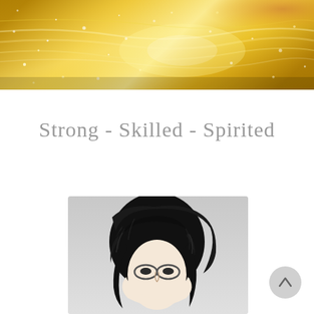[Figure (photo): Golden shimmer background banner image with bokeh sparkle light effects, warm golden tones with flowing light streaks]
Strong - Skilled - Spirited
[Figure (illustration): Black and white comic/graphic novel style illustration of a woman's face with dark hair, partially visible, on a grey gradient background]